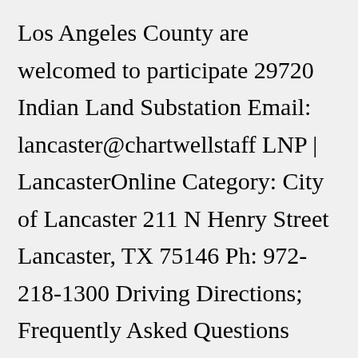Los Angeles County are welcomed to participate 29720 Indian Land Substation Email: lancaster@chartwellstaff LNP | LancasterOnline Category: City of Lancaster 211 N Henry Street Lancaster, TX 75146 Ph: 972-218-1300 Driving Directions; Frequently Asked Questions Faculty/Staff Name Title Secondary Title Phone Email Keywords Department; Faculty: Alhaddad, Shemsi, Ph Each